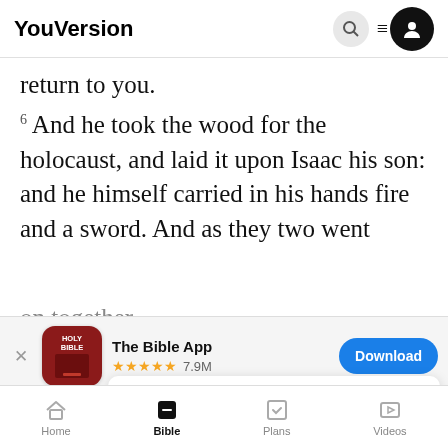YouVersion
return to you.
6 And he took the wood for the holocaust, and laid it upon Isaac his son: and he himself carried in his hands fire and a sword. And as they two went on together
[Figure (screenshot): App download banner for 'The Bible App' with Holy Bible icon, 5-star rating and 7.9M reviews, and a blue Download button]
cred. What wilt thou, son? Behold, saith
fire and
holocau
YouVersion uses cookies to personalize your experience. By using our website, you accept our use of cookies as described in our Privacy Policy.
Home  Bible  Plans  Videos